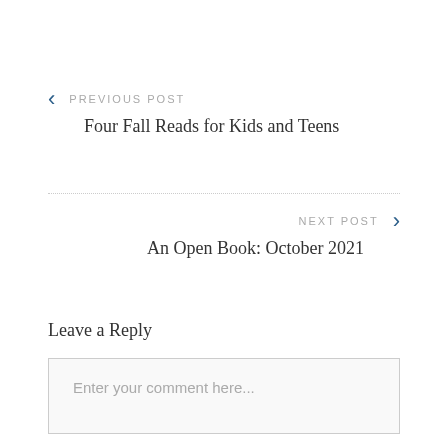PREVIOUS POST
Four Fall Reads for Kids and Teens
NEXT POST
An Open Book: October 2021
Leave a Reply
Enter your comment here...